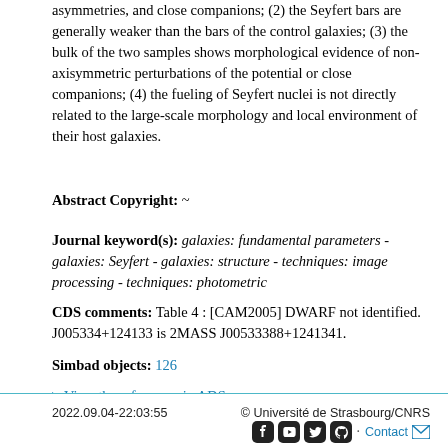asymmetries, and close companions; (2) the Seyfert bars are generally weaker than the bars of the control galaxies; (3) the bulk of the two samples shows morphological evidence of non-axisymmetric perturbations of the potential or close companions; (4) the fueling of Seyfert nuclei is not directly related to the large-scale morphology and local environment of their host galaxies.
Abstract Copyright: ~
Journal keyword(s): galaxies: fundamental parameters - galaxies: Seyfert - galaxies: structure - techniques: image processing - techniques: photometric
CDS comments: Table 4 : [CAM2005] DWARF not identified. J005334+124133 is 2MASS J00533388+1241341.
Simbad objects: 126
▶ View the references in ADS
2022.09.04-22:03:55   © Université de Strasbourg/CNRS   Contact